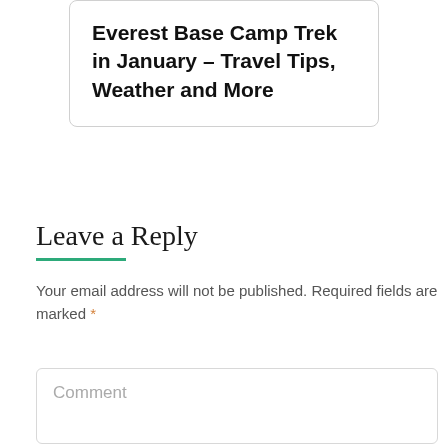Everest Base Camp Trek in January – Travel Tips, Weather and More
Leave a Reply
Your email address will not be published. Required fields are marked *
Comment